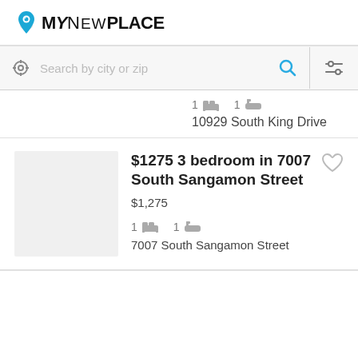[Figure (logo): MyNewPlace logo with map pin icon and text]
[Figure (screenshot): Search bar with location icon, 'Search by city or zip' placeholder, blue search icon, and filter icon]
1 bed  1 bath
10929 South King Drive
$1275 3 bedroom in 7007 South Sangamon Street
$1,275
1 bed  1 bath
7007 South Sangamon Street